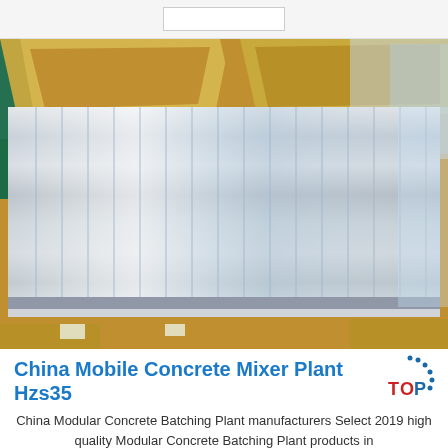[Figure (photo): Photo of metallic/aluminum sheets packed in cardboard boxes with plastic wrap, showing the silver ridged surface of metal panels]
China Mobile Concrete Mixer Plant Hzs35
[Figure (logo): TOP logo - circular dots arrangement with TOP text in red and blue]
China Modular Concrete Batching Plant manufacturers Select 2019 high quality Modular Concrete Batching Plant products in